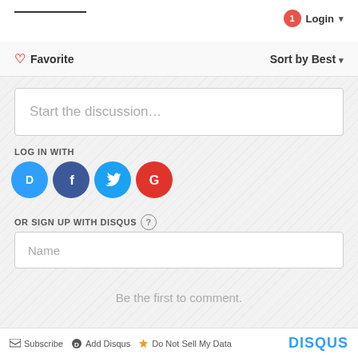[Figure (screenshot): Disqus comment widget screenshot showing login button with badge, favorite/sort controls, discussion input, social login icons (Disqus, Facebook, Twitter, Google), sign up form with Name field, 'Be the first to comment.' text, and footer with Subscribe, Add Disqus, Do Not Sell My Data and Disqus logo.]
Login
Favorite
Sort by Best
Start the discussion…
LOG IN WITH
OR SIGN UP WITH DISQUS
Name
Be the first to comment.
Subscribe  Add Disqus  Do Not Sell My Data  DISQUS